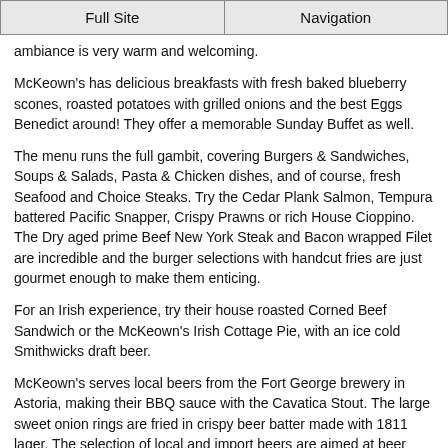Full Site | Navigation
ambiance is very warm and welcoming.
McKeown's has delicious breakfasts with fresh baked blueberry scones, roasted potatoes with grilled onions and the best Eggs Benedict around! They offer a memorable Sunday Buffet as well.
The menu runs the full gambit, covering Burgers & Sandwiches, Soups & Salads, Pasta & Chicken dishes, and of course, fresh Seafood and Choice Steaks. Try the Cedar Plank Salmon, Tempura battered Pacific Snapper, Crispy Prawns or rich House Cioppino. The Dry aged prime Beef New York Steak and Bacon wrapped Filet are incredible and the burger selections with handcut fries are just gourmet enough to make them enticing.
For an Irish experience, try their house roasted Corned Beef Sandwich or the McKeown's Irish Cottage Pie, with an ice cold Smithwicks draft beer.
McKeown's serves local beers from the Fort George brewery in Astoria, making their BBQ sauce with the Cavatica Stout. The large sweet onion rings are fried in crispy beer batter made with 1811 lager. The selection of local and import beers are aimed at beer connoisseurs, and there is a great selection of Pacific Northwest wines, as well as a full bar. Fresh local ingredients and something for everyone at McKeown's.
McKeown's has a happy hour between 3-6 daily, and live music every Saturday night...